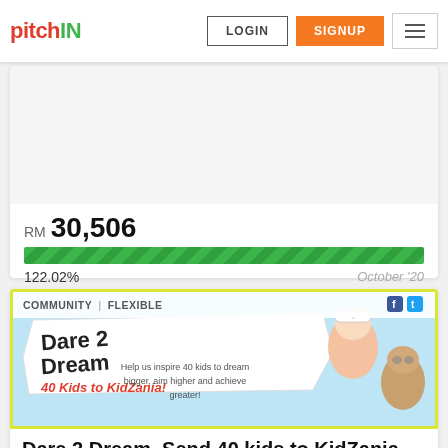pitchIN — LOGIN | SIGNUP
RM 30,506
122.02%  October '20
[Figure (screenshot): Dare2Dream crowdfunding campaign banner: '40 Kids to KidZania – Help us inspire 40 kids to dream bigger, aim higher and achieve greater!' with cartoon nurse and aviator characters. Tags: COMMUNITY | FLEXIBLE]
Dare 2 Dream. Send 40 kids to KidZania
the RE:ED Project. SMK Tengku Idris Shah is located in Kapar, Selangor. It is a large school, with approximately 2,300 students. Many stud